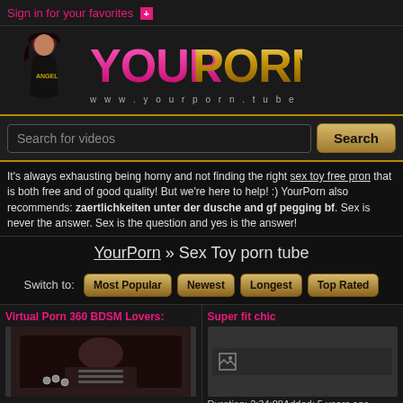Sign in for your favorites [+]
[Figure (logo): YourPorn website logo with woman figure and text 'YOURPORN' in pink and gold, www.yourporn.tube]
Search for videos [Search button]
It's always exhausting being horny and not finding the right sex toy free pron that is both free and of good quality! But we're here to help! :) YourPorn also recommends: zaertlichkeiten unter der dusche and gf pegging bf. Sex is never the answer. Sex is the question and yes is the answer!
YourPorn » Sex Toy porn tube
Switch to: Most Popular | Newest | Longest | Top Rated
Virtual Porn 360 BDSM Lovers:
Super fit chic
Duration: 2:34:08 Added: 5 years ago Sexy Tube: muscular